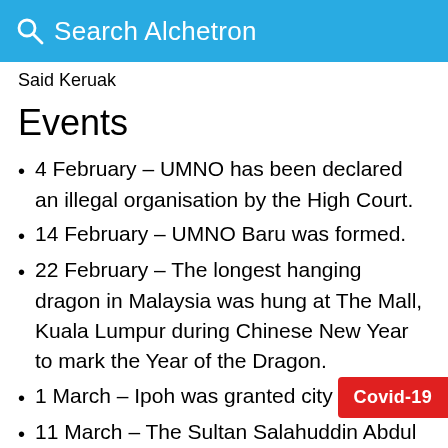Search Alchetron
Said Keruak
Events
4 February – UMNO has been declared an illegal organisation by the High Court.
14 February – UMNO Baru was formed.
22 February – The longest hanging dragon in Malaysia was hung at The Mall, Kuala Lumpur during Chinese New Year to mark the Year of the Dragon.
1 March – Ipoh was granted city status.
11 March – The Sultan Salahuddin Abdul Aziz Mosque in Shah Alam, Selangor was fully constructed. This is the largest mosque in
Covid-19